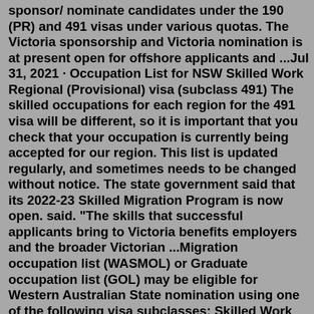sponsor/ nominate candidates under the 190 (PR) and 491 visas under various quotas. The Victoria sponsorship and Victoria nomination is at present open for offshore applicants and ...Jul 31, 2021 · Occupation List for NSW Skilled Work Regional (Provisional) visa (subclass 491) The skilled occupations for each region for the 491 visa will be different, so it is important that you check that your occupation is currently being accepted for our region. This list is updated regularly, and sometimes needs to be changed without notice. The state government said that its 2022-23 Skilled Migration Program is now open. said. "The skills that successful applicants bring to Victoria benefits employers and the broader Victorian ...Migration occupation list (WASMOL) or Graduate occupation list (GOL) may be eligible for Western Australian State nomination using one of the following visa subclasses: Skilled Work Regional (Provisional) visa ( subclass 491 ). The WASMOL is available to applicants who intend to use the general